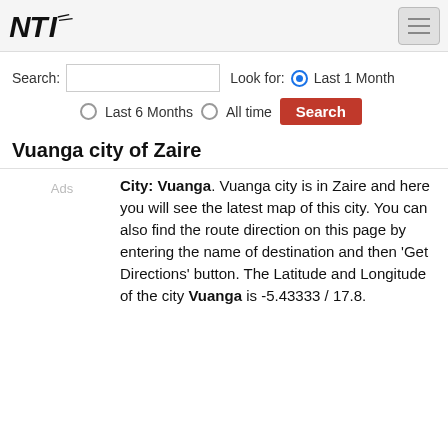NTI logo and navigation
Search: Look for: Last 1 Month Last 6 Months All time Search
Vuanga city of Zaire
Ads
City: Vuanga. Vuanga city is in Zaire and here you will see the latest map of this city. You can also find the route direction on this page by entering the name of destination and then 'Get Directions' button. The Latitude and Longitude of the city Vuanga is -5.43333 / 17.8.